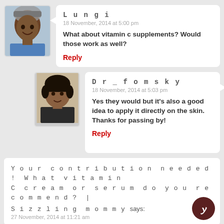[Figure (photo): Profile photo of Lungi, a smiling woman wearing a patterned headwrap]
Lungi says:
18 November, 2014 at 5:00 pm
What about vitamin c supplements? Would those work as well?
Reply
[Figure (photo): Profile photo of Dr_fomsky, a woman with short hair and dark clothing]
Dr_fomsky says:
18 November, 2014 at 5:03 pm
Yes they would but it's also a good idea to apply it directly on the skin. Thanks for passing by!
Reply
Your contribution needed! What vitamin C cream or serum do you recommend? | Sizzling mommy says:
27 November, 2014 at 11:21 am